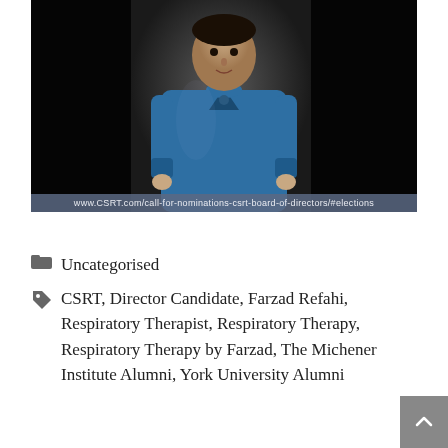[Figure (photo): A man in blue medical scrubs standing against a dark background, professional portrait photo. URL bar at bottom reads: www.CSRT.com/call-for-nominations-csrt-board-of-directors/#elections]
Uncategorised
CSRT, Director Candidate, Farzad Refahi, Respiratory Therapist, Respiratory Therapy, Respiratory Therapy by Farzad, The Michener Institute Alumni, York University Alumni